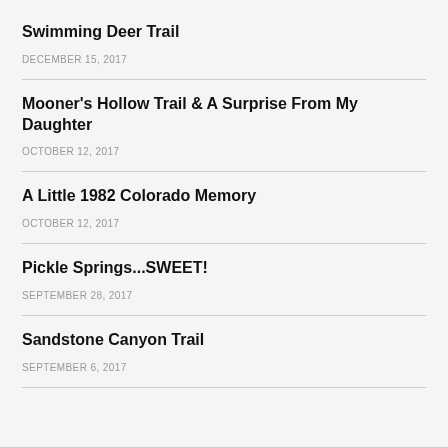Swimming Deer Trail
DECEMBER 15, 2017
Mooner's Hollow Trail & A Surprise From My Daughter
OCTOBER 12, 2017
A Little 1982 Colorado Memory
OCTOBER 12, 2017
Pickle Springs...SWEET!
SEPTEMBER 28, 2017
Sandstone Canyon Trail
SEPTEMBER 6, 2017